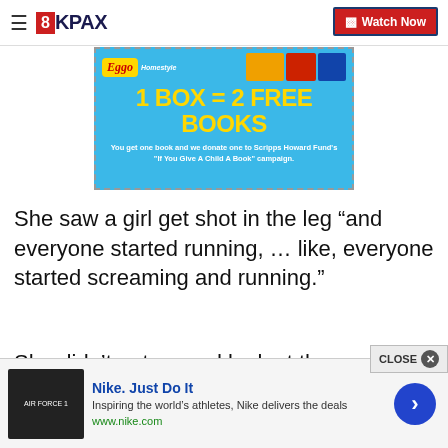8KPAX — Watch Now
[Figure (photo): Kellogg's Eggo advertisement banner. Blue background with Eggo waffles and cereal box images. Large yellow text: '1 BOX = 2 FREE BOOKS'. White subtext: 'You get one book and we donate one to Scripps Howard Fund's "If You Give A Child A Book" campaign.']
She saw a girl get shot in the leg “and everyone started running, … like, everyone started screaming and running.”
She didn’t get a good look at the shooter, the witness told KTRK
[Figure (screenshot): Bottom advertisement: Nike. Just Do It. Inspiring the world’s athletes, Nike delivers the deals. www.nike.com. Blue circular arrow button. Close button overlay with X icon.]